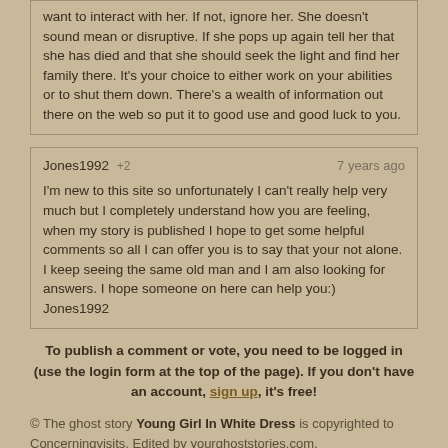want to interact with her. If not, ignore her. She doesn't sound mean or disruptive. If she pops up again tell her that she has died and that she should seek the light and find her family there. It's your choice to either work on your abilities or to shut them down. There's a wealth of information out there on the web so put it to good use and good luck to you.
Jones1992 +2   7 years ago

I'm new to this site so unfortunately I can't really help very much but I completely understand how you are feeling, when my story is published I hope to get some helpful comments so all I can offer you is to say that your not alone. I keep seeing the same old man and I am also looking for answers. I hope someone on here can help you:)
Jones1992
To publish a comment or vote, you need to be logged in (use the login form at the top of the page). If you don't have an account, sign up, it's free!
© The ghost story Young Girl In White Dress is copyrighted to Concerningvisits. Edited by yourghoststories.com.